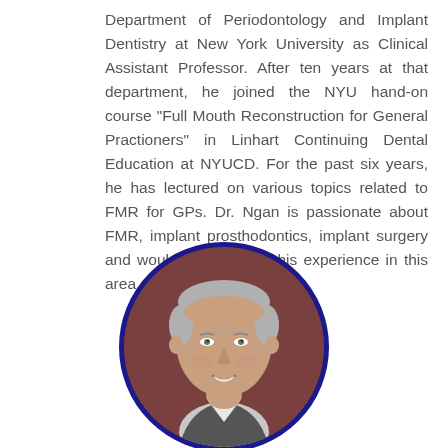Department of Periodontology and Implant Dentistry at New York University as Clinical Assistant Professor. After ten years at that department, he joined the NYU hand-on course “Full Mouth Reconstruction for General Practioners” in Linhart Continuing Dental Education at NYUCD. For the past six years, he has lectured on various topics related to FMR for GPs. Dr. Ngan is passionate about FMR, implant prosthodontics, implant surgery and would like to share his experience in this area.
[Figure (photo): Circular headshot photo of a middle-aged man with gray hair, wearing a suit, smiling, with a dark blue circular border. Background of photo is brownish-red.]